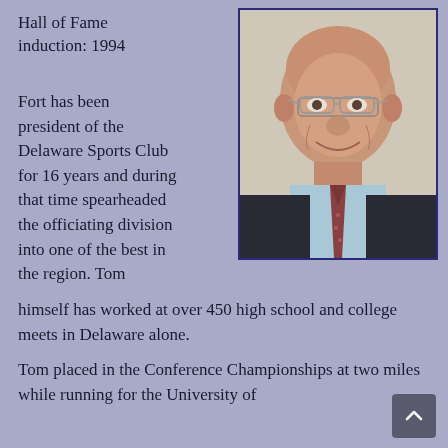Hall of Fame induction: 1994
[Figure (photo): Portrait photo of an elderly man wearing glasses, a light blue shirt and a patterned tie, smiling at the camera, with a dark jacket, against a neutral background.]
Fort has been president of the Delaware Sports Club for 16 years and during that time spearheaded the officiating division into one of the best in the region. Tom himself has worked at over 450 high school and college meets in Delaware alone.
Tom placed in the Conference Championships at two miles while running for the University of